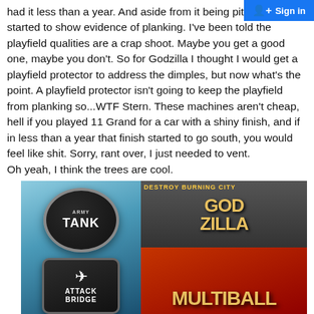Sign in
had it less than a year. And aside from it being pitted has now started to show evidence of planking. I've been told the playfield qualities are a crap shoot. Maybe you get a good one, maybe you don't. So for Godzilla I thought I would get a playfield protector to address the dimples, but now what's the point. A playfield protector isn't going to keep the playfield from planking so...WTF Stern. These machines aren't cheap, hell if you played 11 Grand for a car with a shiny finish, and if in less than a year that finish started to go south, you would feel like shit. Sorry, rant over, I just needed to vent.
Oh yeah, I think the trees are cool.
[Figure (photo): Close-up photo of a Godzilla pinball machine playfield showing circular 'TANK' button, 'ATTACK BRIDGE' button, and 'GODZILLA MULTIBALL' playfield insert on red background]